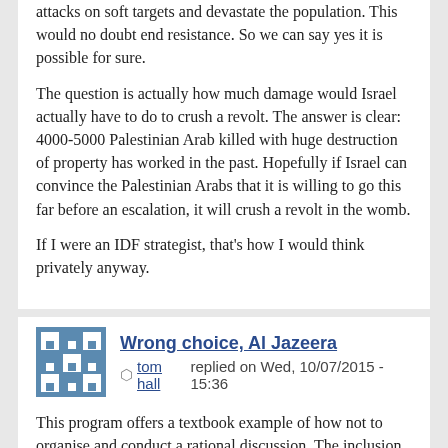attacks on soft targets and devastate the population. This would no doubt end resistance. So we can say yes it is possible for sure.
The question is actually how much damage would Israel actually have to do to crush a revolt. The answer is clear: 4000-5000 Palestinian Arab killed with huge destruction of property has worked in the past. Hopefully if Israel can convince the Palestinian Arabs that it is willing to go this far before an escalation, it will crush a revolt in the womb.

If I were an IDF strategist, that's how I would think privately anyway.
Wrong choice, Al Jazeera
tom hall replied on Wed, 10/07/2015 - 15:36
This program offers a textbook example of how not to organise and conduct a rational discussion. The inclusion of